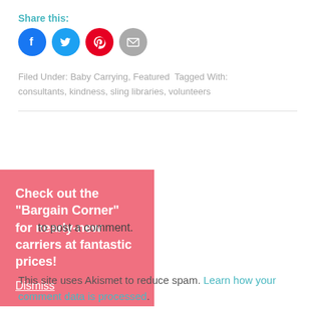Share this:
[Figure (infographic): Four social sharing icon buttons: Facebook (blue circle), Twitter (light blue circle), Pinterest (red circle), Email (gray circle)]
Filed Under: Baby Carrying, Featured  Tagged With: consultants, kindness, sling libraries, volunteers
[Figure (infographic): Pink promotional box with white bold text: Check out the "Bargain Corner" for nearly-new carriers at fantastic prices! Dismiss (underlined)]
to post a comment.
This site uses Akismet to reduce spam. Learn how your comment data is processed.